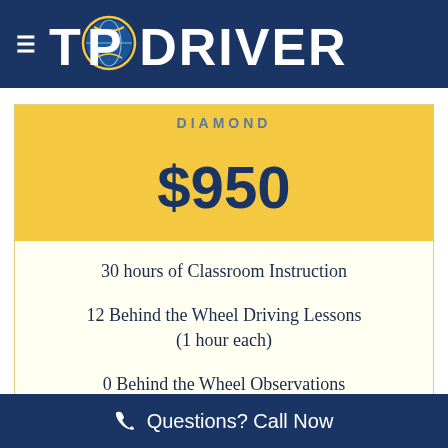TOP DRIVER
DIAMOND
$950
30 hours of Classroom Instruction
12 Behind the Wheel Driving Lessons (1 hour each)
0 Behind the Wheel Observations (1 hour each)
Questions? Call Now